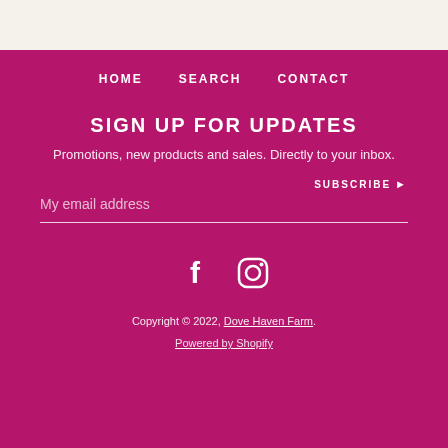HOME   SEARCH   CONTACT
SIGN UP FOR UPDATES
Promotions, new products and sales. Directly to your inbox.
My email address
SUBSCRIBE ▶
[Figure (other): Facebook and Instagram social media icons]
Copyright © 2022, Dove Haven Farm. Powered by Shopify